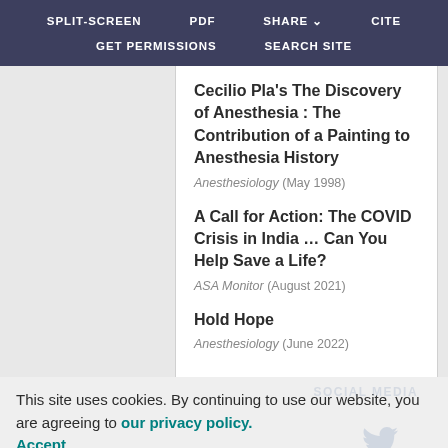SPLIT-SCREEN   PDF   SHARE   CITE   GET PERMISSIONS   SEARCH SITE
Cecilio Pla's The Discovery of Anesthesia : The Contribution of a Painting to Anesthesia History
Anesthesiology (May 1998)
A Call for Action: The COVID Crisis in India … Can You Help Save a Life?
ASA Monitor (August 2021)
Hold Hope
Anesthesiology (June 2022)
This site uses cookies. By continuing to use our website, you are agreeing to our privacy policy. Accept